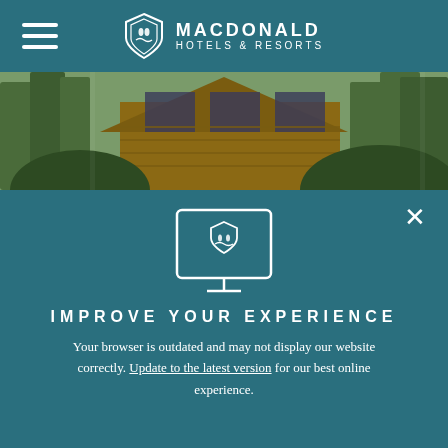MACDONALD HOTELS & RESORTS
[Figure (photo): Exterior photo of a wooden lodge-style building surrounded by tall trees in a forest setting]
[Figure (illustration): Icon of a desktop computer monitor displaying the Macdonald Hotels & Resorts shield logo]
IMPROVE YOUR EXPERIENCE
Your browser is outdated and may not display our website correctly. Update to the latest version for our best online experience.